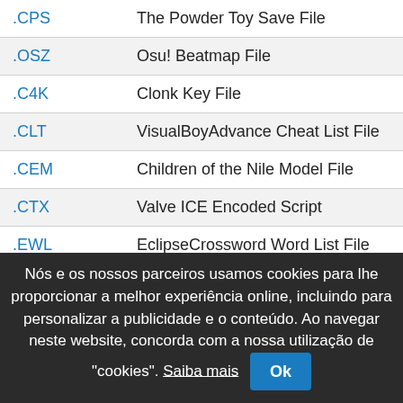| Extension | Description |
| --- | --- |
| .CPS | The Powder Toy Save File |
| .OSZ | Osu! Beatmap File |
| .C4K | Clonk Key File |
| .CLT | VisualBoyAdvance Cheat List File |
| .CEM | Children of the Nile Model File |
| .CTX | Valve ICE Encoded Script |
| .EWL | EclipseCrossword Word List File |
| .MCR | Minecraft Region File |
| .ADT | World of Warcraft Map File |
Nós e os nossos parceiros usamos cookies para lhe proporcionar a melhor experiência online, incluindo para personalizar a publicidade e o conteúdo. Ao navegar neste website, concorda com a nossa utilização de "cookies". Saiba mais  Ok